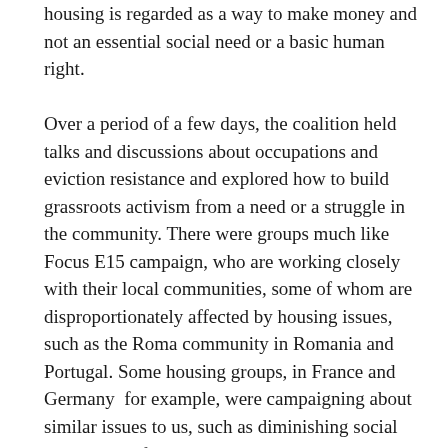housing is regarded as a way to make money and not an essential social need or a basic human right.
Over a period of a few days, the coalition held talks and discussions about occupations and eviction resistance and explored how to build grassroots activism from a need or a struggle in the community. There were groups much like Focus E15 campaign, who are working closely with their local communities, some of whom are disproportionately affected by housing issues, such as the Roma community in Romania and Portugal. Some housing groups, in France and Germany for example, were campaigning about similar issues to us, such as diminishing social housing and forced relocation. On the other side of the spectrum, progressive housing movements in countries such as Greece and Cyprus spoke about their struggles in a brutal system which has no social housing whatsoever and explained about their daily fight against dispossession and evictions in the aftermath of the financial crisis.